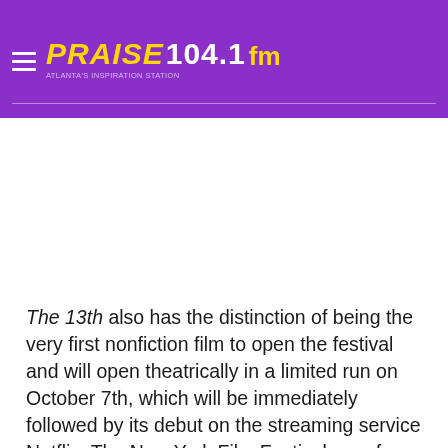Praise 104.1 fm
[Figure (other): Blank white image placeholder area]
The 13th also has the distinction of being the very first nonfiction film to open the festival and will open theatrically in a limited run on October 7th, which will be immediately followed by its debut on the streaming service Netflix. The New York Film Festival runs from September 30th through October 16th.